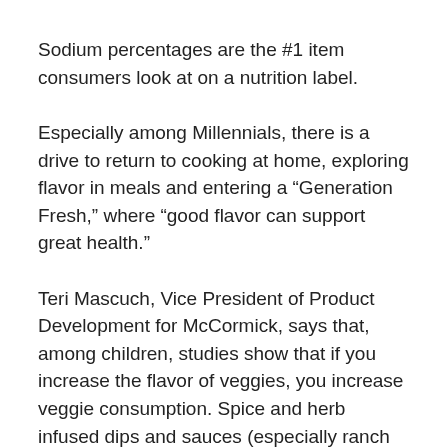Sodium percentages are the #1 item consumers look at on a nutrition label.
Especially among Millennials, there is a drive to return to cooking at home, exploring flavor in meals and entering a “Generation Fresh,” where “good flavor can support great health.”
Teri Mascuch, Vice President of Product Development for McCormick, says that, among children, studies show that if you increase the flavor of veggies, you increase veggie consumption. Spice and herb infused dips and sauces (especially ranch and pizza themed) make veggies “flavorful and fun.”
80% of adults fall short on daily recommendations for